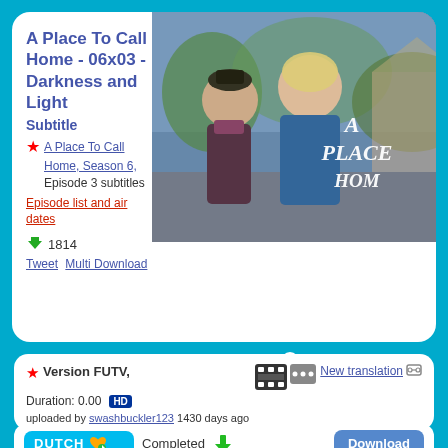A Place To Call Home - 06x03 - Darkness and Light
Subtitle
A Place To Call Home, Season 6, Episode 3 subtitles
Episode list and air dates
1814
Tweet  Multi Download
[Figure (photo): Promotional image for A Place To Call Home TV show showing two women outdoors with text overlay reading A Place Home]
Sort versions alphabetically by language - Filter Language:
All
Version FUTV, Duration: 0.00
New translation uploaded by swashbuckler123 1430 days ago
DUTCH Completed Download